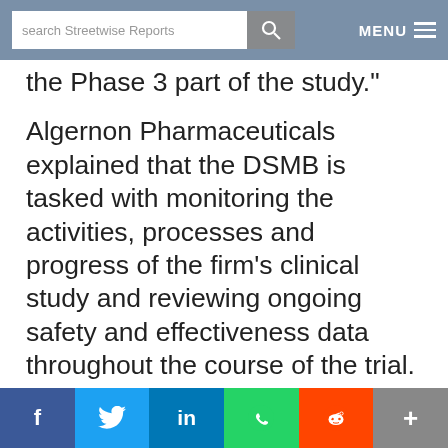search Streetwise Reports | MENU
the Phase 3 part of the study."
Algernon Pharmaceuticals explained that the DSMB is tasked with monitoring the activities, processes and progress of the firm's clinical study and reviewing ongoing safety and effectiveness data throughout the course of the trial. The firm noted that the DSMB committee is composed of clinical research experts, patient advocates, physicians and statisticians.
Algernon Pharmaceuticals' CEO Christopher J. M...
f | Twitter | in | WhatsApp | Reddit | +